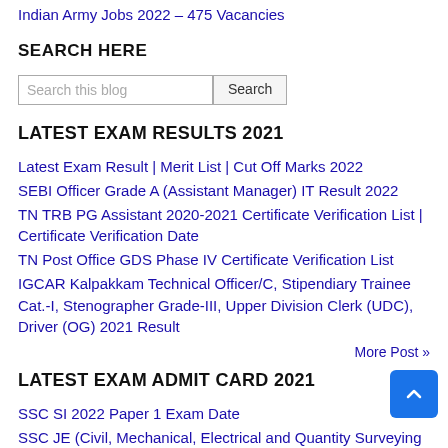Indian Army Jobs 2022 – 475 Vacancies
SEARCH HERE
[Figure (other): Search bar with text input 'Search this blog' and Search button]
LATEST EXAM RESULTS 2021
Latest Exam Result | Merit List | Cut Off Marks 2022
SEBI Officer Grade A (Assistant Manager) IT Result 2022
TN TRB PG Assistant 2020-2021 Certificate Verification List | Certificate Verification Date
TN Post Office GDS Phase IV Certificate Verification List
IGCAR Kalpakkam Technical Officer/C, Stipendiary Trainee Cat.-I, Stenographer Grade-III, Upper Division Clerk (UDC), Driver (OG) 2021 Result
More Post »
LATEST EXAM ADMIT CARD 2021
SSC SI 2022 Paper 1 Exam Date
SSC JE (Civil, Mechanical, Electrical and Quantity Surveying &